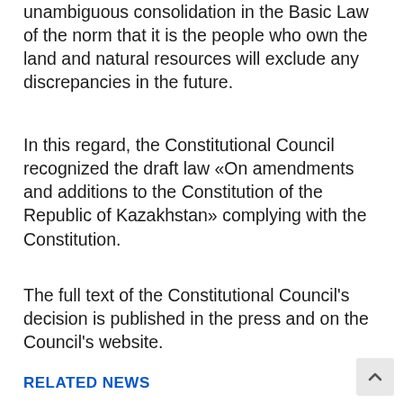unambiguous consolidation in the Basic Law of the norm that it is the people who own the land and natural resources will exclude any discrepancies in the future.
In this regard, the Constitutional Council recognized the draft law «On amendments and additions to the Constitution of the Republic of Kazakhstan» complying with the Constitution.
The full text of the Constitutional Council's decision is published in the press and on the Council's website.
RELATED NEWS